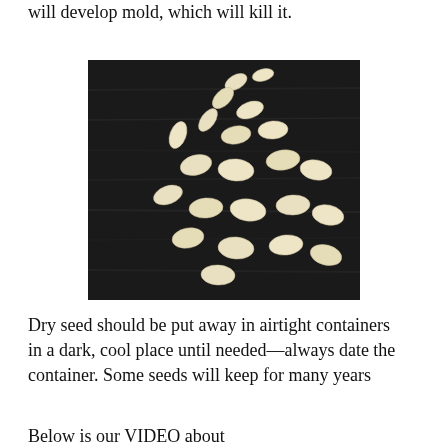will develop mold, which will kill it.
[Figure (photo): A pile of pale cream/white pumpkin or squash seeds arranged on a dark weathered wooden surface.]
Dry seed should be put away in airtight containers in a dark, cool place until needed—always date the container. Some seeds will keep for many years
Below is our VIDEO about